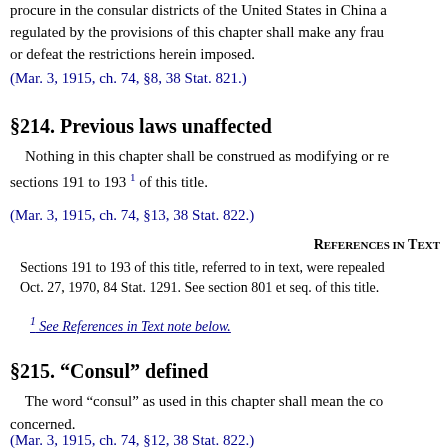procure in the consular districts of the United States in China and regulated by the provisions of this chapter shall make any fraud or defeat the restrictions herein imposed.
(Mar. 3, 1915, ch. 74, §8, 38 Stat. 821.)
§214. Previous laws unaffected
Nothing in this chapter shall be construed as modifying or re sections 191 to 193 1 of this title.
(Mar. 3, 1915, ch. 74, §13, 38 Stat. 822.)
References in Text
Sections 191 to 193 of this title, referred to in text, were repealed Oct. 27, 1970, 84 Stat. 1291. See section 801 et seq. of this title.
1 See References in Text note below.
§215. “Consul” defined
The word “consul” as used in this chapter shall mean the co concerned.
(Mar. 3, 1915, ch. 74, §12, 38 Stat. 822.)